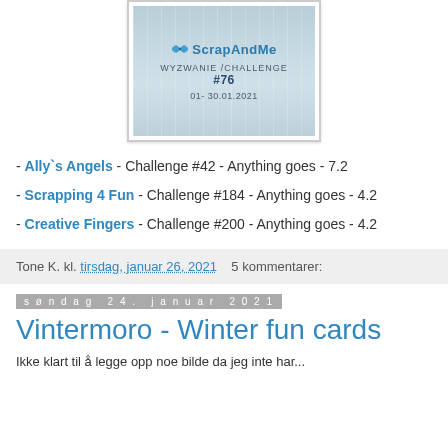[Figure (illustration): ScrapAndMe challenge badge with butterfly logo, text 'WYZWANIE/CHALLENGE #76', date '01-30.01.2021', wood plank texture background, stamp border]
- Ally`s Angels - Challenge #42 - Anything goes - 7.2
- Scrapping 4 Fun - Challenge #184 - Anything goes - 4.2
- Creative Fingers - Challenge #200 - Anything goes - 4.2
Tone K. kl. tirsdag, januar 26, 2021   5 kommentarer:
søndag 24. januar 2021
Vintermoro - Winter fun cards
Ikke klart til å legge opp noe bilde da jeg inte har...